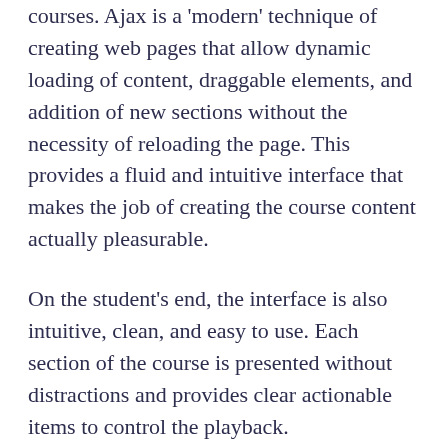courses. Ajax is a 'modern' technique of creating web pages that allow dynamic loading of content, draggable elements, and addition of new sections without the necessity of reloading the page. This provides a fluid and intuitive interface that makes the job of creating the course content actually pleasurable.
On the student's end, the interface is also intuitive, clean, and easy to use. Each section of the course is presented without distractions and provides clear actionable items to control the playback.
Assessment
The success of this tool is publicized on their web page with endorsements from...